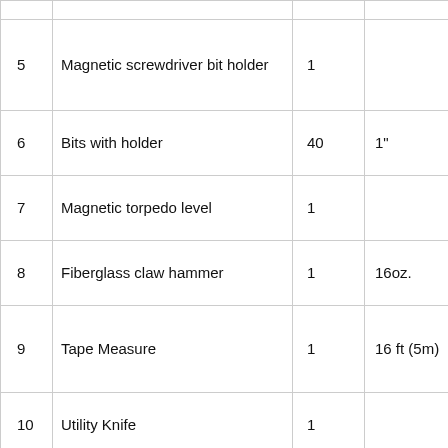| # | Item | Qty | Spec |
| --- | --- | --- | --- |
| 5 | Magnetic screwdriver bit holder | 1 |  |
| 6 | Bits with holder | 40 | 1" |
| 7 | Magnetic torpedo level | 1 |  |
| 8 | Fiberglass claw hammer | 1 | 16oz. |
| 9 | Tape Measure | 1 | 16 ft (5m) |
| 10 | Utility Knife | 1 |  |
| 11 | Utility Knife Blades | 10 |  |
| 12 | Cable Ties | 40 |  |